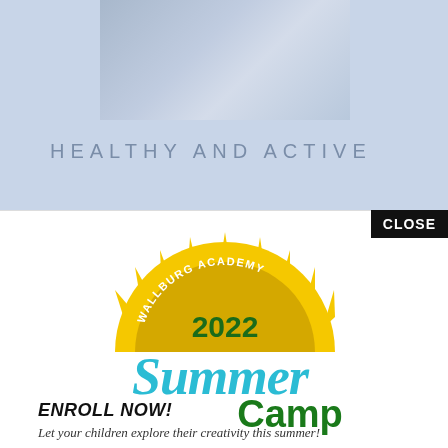[Figure (photo): Photo of craft/art supplies from above, partially visible at top of page]
HEALTHY AND ACTIVE
[Figure (logo): Wallburg Academy 2022 Summer Camp logo with sun, script text 'Summer' in teal, 'Camp' in green, '2022' in dark green, sun rays in yellow, banner reading 'WALLBURG ACADEMY']
ENROLL NOW!
Let your children explore their creativity this summer!